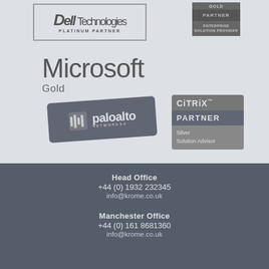[Figure (logo): Dell Technologies Platinum Partner logo badge with border]
[Figure (logo): Enterprise Solution Provider Partner badge in grey tones]
[Figure (logo): Microsoft Gold partner logo in grey]
[Figure (logo): Palo Alto Networks partner badge, tilted, dark grey background]
[Figure (logo): Citrix Partner Silver Solution Advisor badge]
Head Office
+44 (0) 1932 232345
info@krome.co.uk
Manchester Office
+44 (0) 161 8681360
info@krome.co.uk